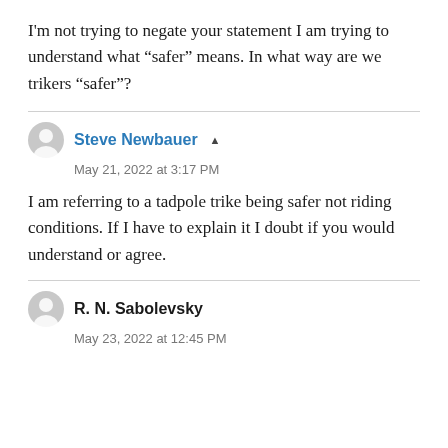I'm not trying to negate your statement I am trying to understand what “safer” means. In what way are we trikers “safer”?
Steve Newbauer ▾
May 21, 2022 at 3:17 PM
I am referring to a tadpole trike being safer not riding conditions. If I have to explain it I doubt if you would understand or agree.
R. N. Sabolevsky
May 23, 2022 at 12:45 PM